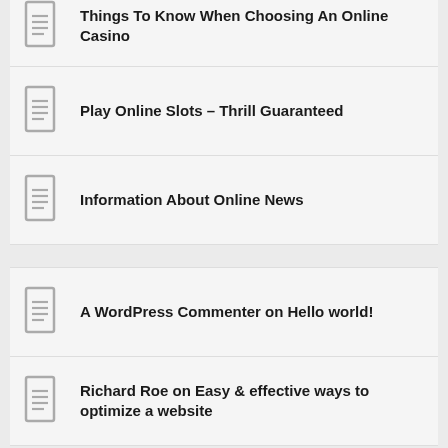Things To Know When Choosing An Online Casino
Play Online Slots – Thrill Guaranteed
Information About Online News
A WordPress Commenter on Hello world!
Richard Roe on Easy & effective ways to optimize a website
May 2021